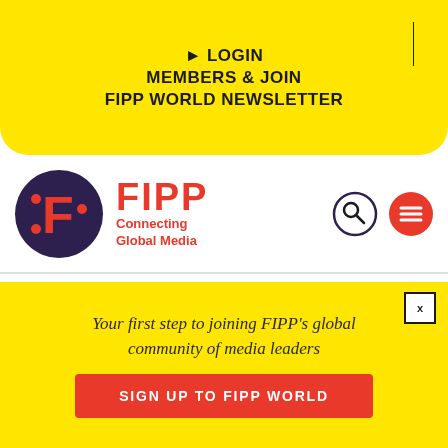▶ LOGIN | MEMBERS & JOIN FIPP WORLD NEWSLETTER
[Figure (logo): FIPP logo: dark purple circle with orange F letterform, beside red FIPP wordmark and 'Connecting Global Media' tagline. Search icon and hamburger menu icon to the right.]
are handed – by the sales side – a list of things that they can move between over time. So there's the simple stuff, like messaging, which is a first step for many publishers if they have not already done this – but the big people have. I mean that has been done now several years ago. Another option is run the risk of
Your first step to joining FIPP's global community of media leaders
SIGN UP TO FIPP WORLD